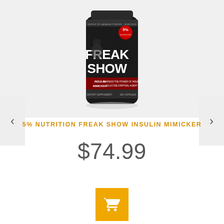[Figure (photo): 5% Nutrition Freak Show Insulin Mimicker supplement bottle with black label showing 'FREAK SHOW' text and bodybuilder imagery, 160 capsules dietary supplement]
5% NUTRITION FREAK SHOW INSULIN MIMICKER
$74.99
[Figure (other): Add to cart button — yellow/orange square with white shopping basket icon]